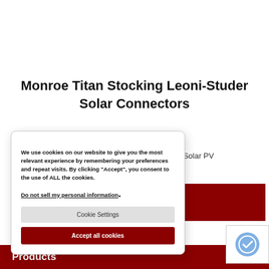Monroe Titan Stocking Leoni-Studer Solar Connectors
uct News
s BETAsolar Solar PV
a global...
We use cookies on our website to give you the most relevant experience by remembering your preferences and repeat visits. By clicking “Accept”, you consent to the use of ALL the cookies. Do not sell my personal information.
Cookie Settings
Accept all cookies
Products